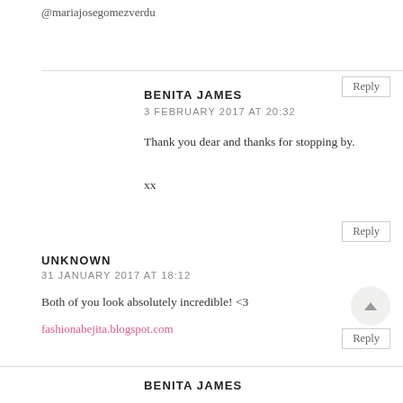@mariajosegomezverdu
Reply
BENITA JAMES
3 FEBRUARY 2017 AT 20:32
Thank you dear and thanks for stopping by.
xx
Reply
UNKNOWN
31 JANUARY 2017 AT 18:12
Both of you look absolutely incredible! <3
fashionabejita.blogspot.com
Reply
BENITA JAMES